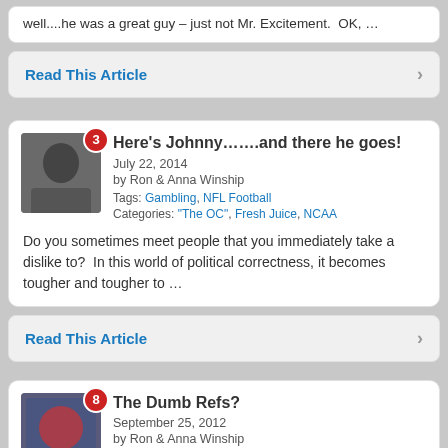well....he was a great guy – just not Mr. Excitement.  OK, …
Read This Article
Here's Johnny…….and there he goes!
July 22, 2014
by Ron & Anna Winship
Tags: Gambling, NFL Football
Categories: "The OC", Fresh Juice, NCAA
Do you sometimes meet people that you immediately take a dislike to?  In this world of political correctness, it becomes tougher and tougher to …
Read This Article
The Dumb Refs?
September 25, 2012
by Ron & Anna Winship
Tags: Las Vergas Gamblers, NFL Football, NFL Refs
Categories: Fresh Juice, sports
The blame game is a very interesting one about the brew oh he